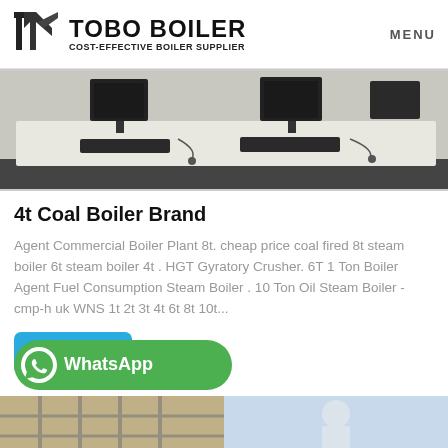TOBO BOILER COST-EFFECTIVE BOILER SUPPLIER | MENU
[Figure (photo): Office workspace with monitors and keyboards on white desks]
4t Coal Boiler Brand
Agent Commercial Boiler Plant 8t. cheap price coal fired 8t steam boiler 6t steam boiler 4t . HGT Gyratory Crusher. 6T 1 Ton Boiler Agent Fuel Consumption Steam Boiler . 10 Ton Oil Steam Boiler - cmp-h uk WNS 1t 2t 3t 4t 6t 8t 10t...
[Figure (logo): WhatsApp button (green rounded rectangle with WhatsApp icon and label)]
[Figure (photo): Two partial images at bottom: left shows industrial/scaffolding, right shows a worker in white]